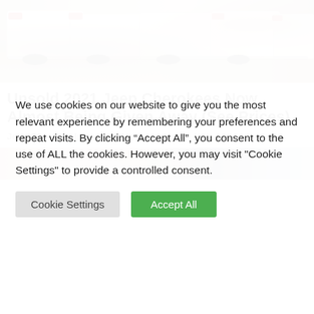[Figure (photo): Row of white cars parked with rear ends visible, outdoor setting with sandy ground]
Unsold 2021 Jeep Cherokees Now Almost Being Given Away (See Prices)
Jeep Cherokee | Search Ads | Sponsored
[Figure (photo): Partially visible second image showing a blurred person with hair visible]
We use cookies on our website to give you the most relevant experience by remembering your preferences and repeat visits. By clicking “Accept All”, you consent to the use of ALL the cookies. However, you may visit "Cookie Settings" to provide a controlled consent.